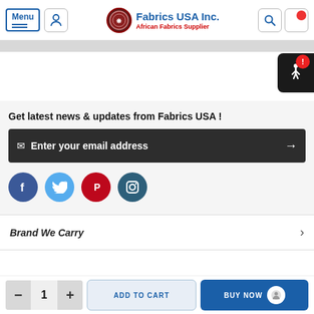Menu | Fabrics USA Inc. African Fabrics Supplier
Get latest news & updates from Fabrics USA !
Enter your email address
[Figure (infographic): Social media icons: Facebook, Twitter, Pinterest, Instagram]
Brand We Carry
1  ADD TO CART  BUY NOW